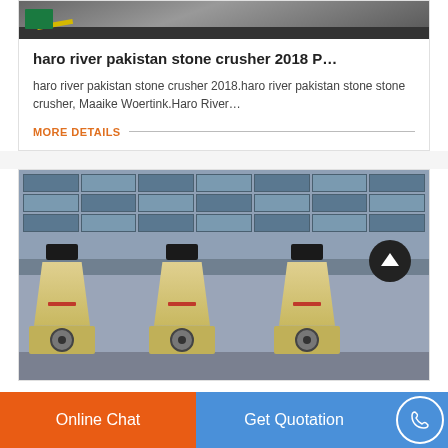[Figure (photo): Partial view of stone crusher machinery at top of page]
haro river pakistan stone crusher 2018 P…
haro river pakistan stone crusher 2018.haro river pakistan stone stone crusher, Maaike Woertink.Haro River…
MORE DETAILS
[Figure (photo): Three large yellow cone-shaped stone crusher machines lined up in a factory yard, with a building in the background. An up-arrow navigation button is visible in the top right of the image.]
Online Chat
Get Quotation